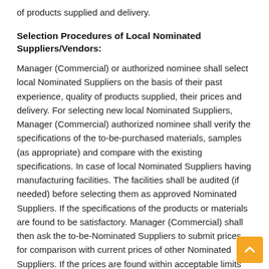of products supplied and delivery.
Selection Procedures of Local Nominated Suppliers/Vendors:
Manager (Commercial) or authorized nominee shall select local Nominated Suppliers on the basis of their past experience, quality of products supplied, their prices and delivery. For selecting new local Nominated Suppliers, Manager (Commercial) authorized nominee shall verify the specifications of the to-be-purchased materials, samples (as appropriate) and compare with the existing specifications. In case of local Nominated Suppliers having manufacturing facilities. The facilities shall be audited (if needed) before selecting them as approved Nominated Suppliers. If the specifications of the products or materials are found to be satisfactory. Manager (Commercial) shall then ask the to-be-Nominated Suppliers to submit prices for comparison with current prices of other Nominated Suppliers. If the prices are found within acceptable limits and test sample are acceptable, then he will recommend the Nominated Supplier(s) to Director for inclusion of the name in the approved Nominated Suppliers List (ASL) of local Nominated Suppliers.